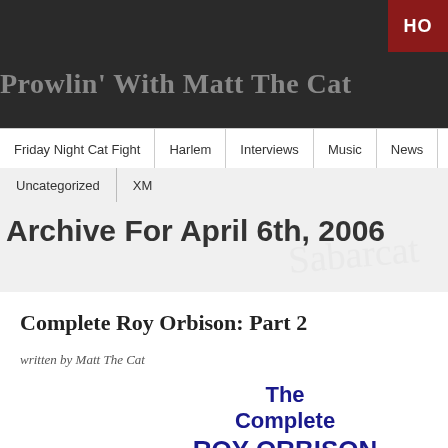Prowlin' With Matt The Cat
Friday Night Cat Fight | Harlem | Interviews | Music | News | N...
Uncategorized | XM
Archive For April 6th, 2006
Complete Roy Orbison: Part 2
written by Matt The Cat
[Figure (other): Text block showing: The Complete ROY ORBISON In Dreams Part 2 in dark blue bold text on white background]